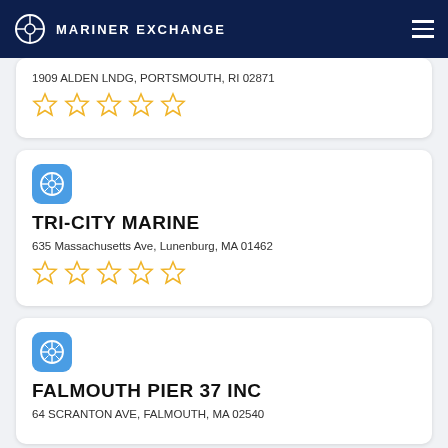MARINER EXCHANGE
1909 ALDEN LNDG, PORTSMOUTH, RI 02871
★★★★★ (0 stars)
TRI-CITY MARINE
635 Massachusetts Ave, Lunenburg, MA 01462
★★★★★ (0 stars)
FALMOUTH PIER 37 INC
64 SCRANTON AVE, FALMOUTH, MA 02540